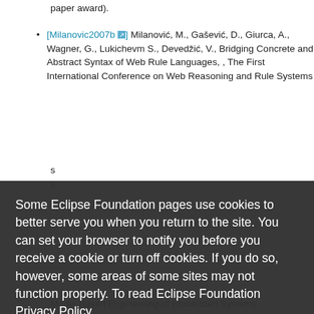paper award).
[Milanovic2007b] Milanović, M., Gašević, D., Giurca, A., Wagner, G., Lukichevm S., Devedžić, V., Bridging Concrete and Abstract Syntax of Web Rule Languages, , The First International Conference on Web Reasoning and Rule Systems
Some Eclipse Foundation pages use cookies to better serve you when you return to the site. You can set your browser to notify you before you receive a cookie or turn off cookies. If you do so, however, some areas of some sites may not function properly. To read Eclipse Foundation Privacy Policy click here.
Decline
Allow cookies
Model Based Engineering of Embedded Systems